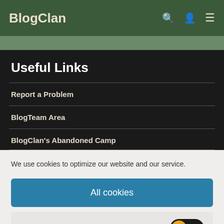BlogClan
Useful Links
Report a Problem
BlogTeam Area
BlogClan's Abandoned Camp
We use cookies to optimize our website and our service.
All cookies
Functional only